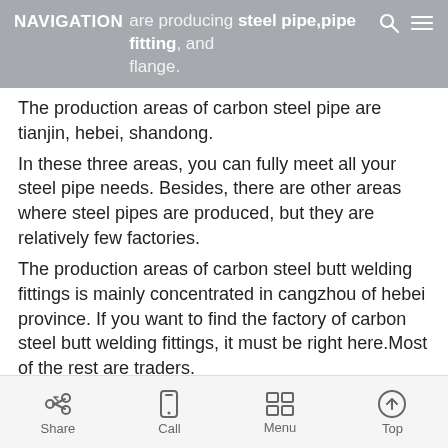NAVIGATION  ...are producing steel pipe,pipe fitting, and flange.
The production areas of carbon steel pipe are tianjin, hebei, shandong.
In these three areas, you can fully meet all your steel pipe needs. Besides, there are other areas where steel pipes are produced, but they are relatively few factories.
The production areas of carbon steel butt welding fittings is mainly concentrated in cangzhou of hebei province. If you want to find the factory of carbon steel butt welding fittings, it must be right here.Most of the rest are traders.
The stainless steel pipe fittings are produced in wenzhou and cangzhou, and the factory in wenzhou is more than cangzhou.
Share  Call  Menu  Top